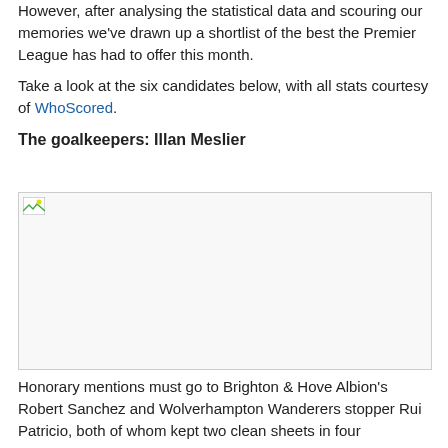However, after analysing the statistical data and scouring our memories we've drawn up a shortlist of the best the Premier League has had to offer this month.
Take a look at the six candidates below, with all stats courtesy of WhoScored.
The goalkeepers: Illan Meslier
[Figure (photo): Image placeholder showing a broken/loading image icon for Illan Meslier goalkeeper photo]
Honorary mentions must go to Brighton & Hove Albion's Robert Sanchez and Wolverhampton Wanderers stopper Rui Patricio, both of whom kept two clean sheets in four